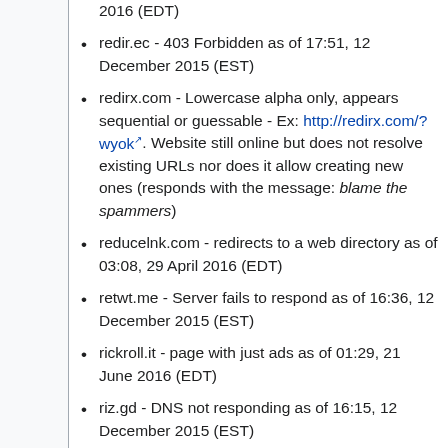2016 (EDT)
redir.ec - 403 Forbidden as of 17:51, 12 December 2015 (EST)
redirx.com - Lowercase alpha only, appears sequential or guessable - Ex: http://redirx.com/?wyok. Website still online but does not resolve existing URLs nor does it allow creating new ones (responds with the message: blame the spammers)
reducelnk.com - redirects to a web directory as of 03:08, 29 April 2016 (EDT)
retwt.me - Server fails to respond as of 16:36, 12 December 2015 (EST)
rickroll.it - page with just ads as of 01:29, 21 June 2016 (EDT)
riz.gd - DNS not responding as of 16:15, 12 December 2015 (EST)